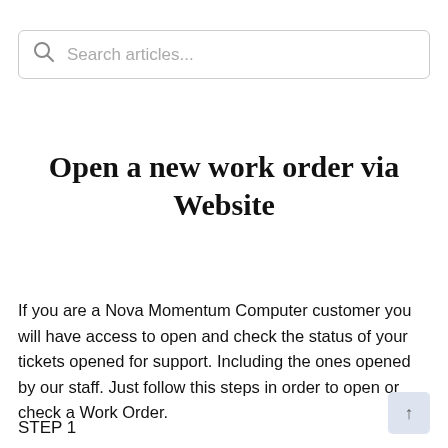[Figure (screenshot): Search bar with magnifying glass icon and placeholder text 'Search articles...']
Open a new work order via Website
If you are a Nova Momentum Computer customer you will have access to open and check the status of your tickets opened for support. Including the ones opened by our staff. Just follow this steps in order to open or check a Work Order.
STEP 1